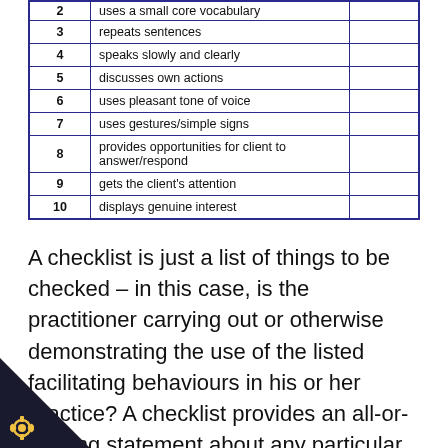| # | Behavior | Check |
| --- | --- | --- |
| 2 | uses a small core vocabulary |  |
| 3 | repeats sentences |  |
| 4 | speaks slowly and clearly |  |
| 5 | discusses own actions |  |
| 6 | uses pleasant tone of voice |  |
| 7 | uses gestures/simple signs |  |
| 8 | provides opportunities for client to answer/respond |  |
| 9 | gets the client's attention |  |
| 10 | displays genuine interest |  |
A checklist is just a list of things to be checked – in this case, is the practitioner carrying out or otherwise demonstrating the use of the listed facilitating behaviours in his or her practice? A checklist provides an all-or-nothing statement about any particular behavior: the practitioner either did or did not show the behavior once during the whole period